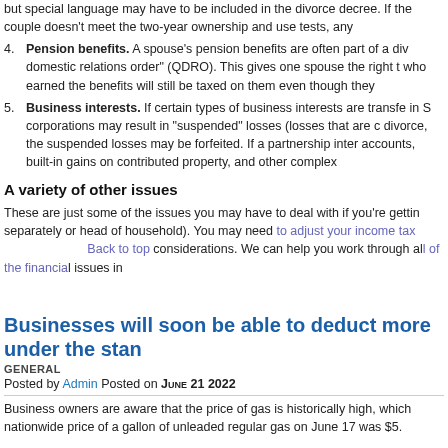but special language may have to be included in the divorce decree. If the couple doesn't meet the two-year ownership and use tests, any
Pension benefits. A spouse's pension benefits are often part of a divorce settlement, through a "qualified domestic relations order" (QDRO). This gives one spouse the right to the other's plan benefits. The spouse who earned the benefits will still be taxed on them even though they
Business interests. If certain types of business interests are transferred in a divorce, interests in S corporations may result in "suspended" losses (losses that are carried over). After the divorce, the suspended losses may be forfeited. If a partnership interest is transferred, capital accounts, built-in gains on contributed property, and other complex
A variety of other issues
These are just some of the issues you may have to deal with if you're getting a divorce (including filing separately or head of household). You may need to adjust your income tax withholding, and there are other considerations. We can help you work through all of the financial issues in
Businesses will soon be able to deduct more under the stan
GENERAL
Posted by Admin Posted on June 21 2022
Business owners are aware that the price of gas is historically high, which nationwide price of a gallon of unleaded regular gas on June 17 was $5.